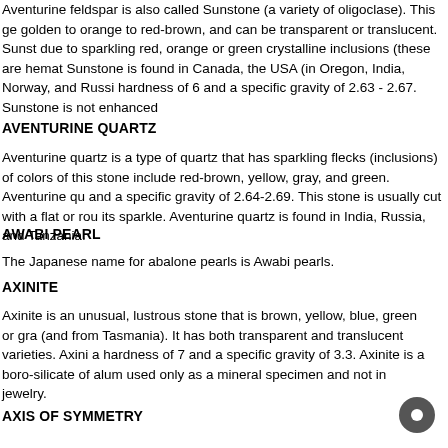Aventurine feldspar is also called Sunstone (a variety of oligoclase). This ge golden to orange to red-brown, and can be transparent or translucent. Sunst due to sparkling red, orange or green crystalline inclusions (these are hemat Sunstone is found in Canada, the USA (in Oregon, India, Norway, and Russi hardness of 6 and a specific gravity of 2.63 - 2.67. Sunstone is not enhanced
AVENTURINE QUARTZ
Aventurine quartz is a type of quartz that has sparkling flecks (inclusions) of colors of this stone include red-brown, yellow, gray, and green. Aventurine qu and a specific gravity of 2.64-2.69. This stone is usually cut with a flat or rou its sparkle. Aventurine quartz is found in India, Russia, and Tanzania.
AWABI PEARL
The Japanese name for abalone pearls is Awabi pearls.
AXINITE
Axinite is an unusual, lustrous stone that is brown, yellow, blue, green or gra (and from Tasmania). It has both transparent and translucent varieties. Axini a hardness of 7 and a specific gravity of 3.3. Axinite is a boro-silicate of alum used only as a mineral specimen and not in jewelry.
AXIS OF SYMMETRY